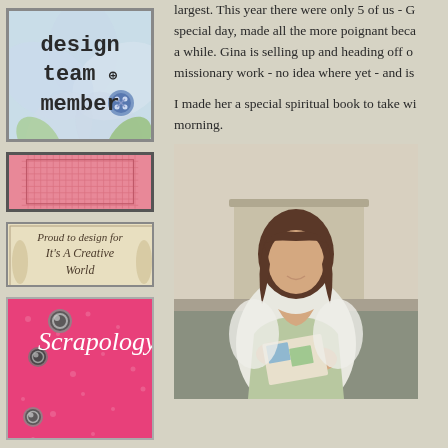[Figure (illustration): Design team member badge with floral background, button decoration, and bold text reading 'design team member']
[Figure (illustration): Pink grid-pattern rectangular banner]
[Figure (illustration): Cream banner reading 'Proud to design for It's A Creative World' with decorative borders]
[Figure (illustration): Pink textured block with cursive 'Scrapology' text and metallic button decorations]
largest. This year there were only 5 of us - G special day, made all the more poignant beca a while. Gina is selling up and heading off o missionary work - no idea where yet - and is
I made her a special spiritual book to take wi morning.
[Figure (photo): Woman with brown hair wearing white shirt and green apron, looking at and handling cards/photos, standing in a kitchen]